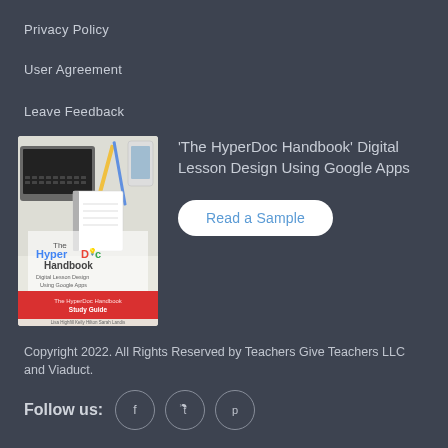Privacy Policy
User Agreement
Leave Feedback
[Figure (photo): Book cover of 'The HyperDoc Handbook' showing a study guide with a laptop, pens, and other school supplies on a desk, with bold colorful title text and red band at bottom listing authors.]
'The HyperDoc Handbook' Digital Lesson Design Using Google Apps
Read a Sample
Copyright 2022. All Rights Reserved by Teachers Give Teachers LLC and Viaduct.
Follow us: